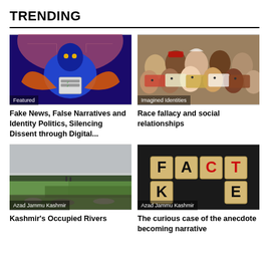TRENDING
[Figure (illustration): Digital art of a humanoid figure with a ballot/voting machine, psychedelic colors. Label: Featured]
[Figure (illustration): Painting of diverse group of people representing different ethnicities. Label: Imagined Identities]
Fake News, False Narratives and Identity Politics, Silencing Dissent through Digital...
Race fallacy and social relationships
[Figure (photo): Landscape photo of Kashmir rivers with green fields and hazy sky. Label: Azad Jammu Kashmir]
[Figure (photo): Photo of wooden letter blocks spelling FACT and FAKE on dark background. Label: Azad Jammu Kashmir]
Kashmir's Occupied Rivers
The curious case of the anecdote becoming narrative